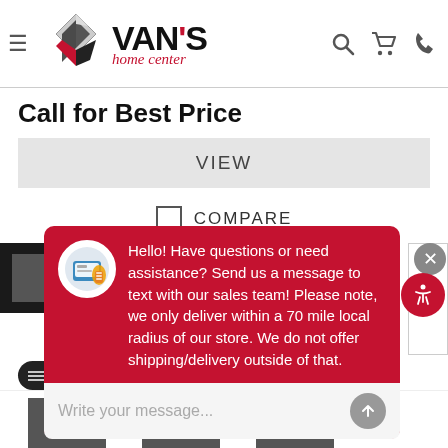[Figure (logo): Van's Home Center logo with diamond/checkered emblem and text]
Call for Best Price
VIEW
COMPARE
[Figure (screenshot): Chat popup with message: Hello! Have questions or need assistance? Send us a message to text with our sales team! Please note, we only deliver within a 70 mile local radius of our store. We do not offer shipping/delivery outside of that.]
Write your message...